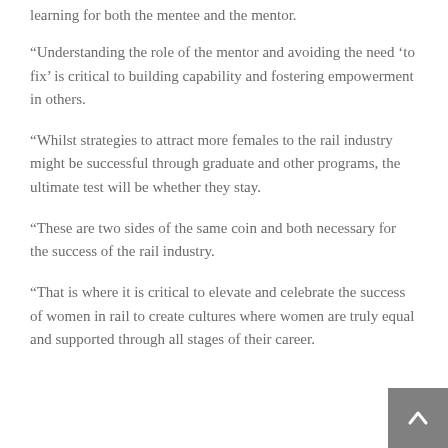learning for both the mentee and the mentor.
“Understanding the role of the mentor and avoiding the need ‘to fix’ is critical to building capability and fostering empowerment in others.
“Whilst strategies to attract more females to the rail industry might be successful through graduate and other programs, the ultimate test will be whether they stay.
“These are two sides of the same coin and both necessary for the success of the rail industry.
“That is where it is critical to elevate and celebrate the success of women in rail to create cultures where women are truly equal and supported through all stages of their career.